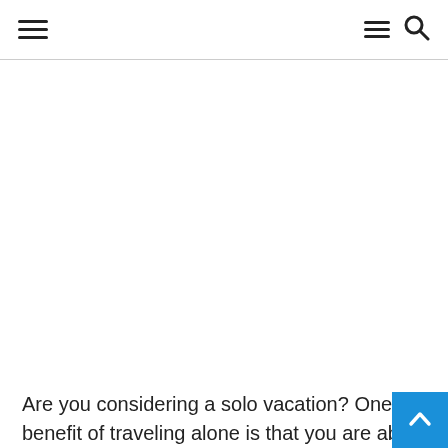Navigation header with hamburger menu icons and search icon
[Figure (other): Blank white content area, likely an image placeholder]
Are you considering a solo vacation? One benefit of traveling alone is that you are able to discover new places at your own pace, without having to wait for travel companions to catch up. The schedules and needs of others won't overwhelm you.